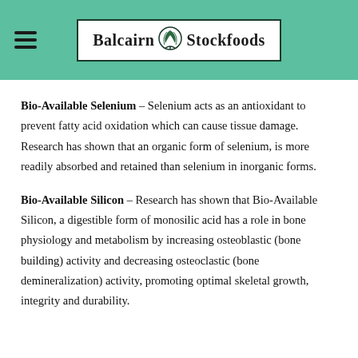Balcairn Stockfoods
Bio-Available Selenium – Selenium acts as an antioxidant to prevent fatty acid oxidation which can cause tissue damage. Research has shown that an organic form of selenium, is more readily absorbed and retained than selenium in inorganic forms.
Bio-Available Silicon – Research has shown that Bio-Available Silicon, a digestible form of monosilic acid has a role in bone physiology and metabolism by increasing osteoblastic (bone building) activity and decreasing osteoclastic (bone demineralization) activity, promoting optimal skeletal growth, integrity and durability.